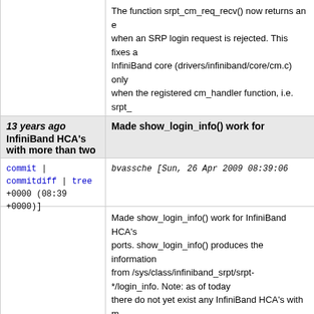The function srpt_cm_req_recv() now returns an error when an SRP login request is rejected. This fixes InfiniBand core (drivers/infiniband/core/cm.c) only when the registered cm_handler function, i.e. srpt_ returns an error code. This patch has been submitted git-svn-id: https://scst.svn.sourceforge.net/svnroot/scst/tru 8a1f-0410-8b47-8ef2f437770f
13 years ago  Made show_login_info() work for InfiniBand HCA's with more than two
commit | commitdiff | tree   bvassche [Sun, 26 Apr 2009 08:39:06 +0000 (08:39 +0000)]
Made show_login_info() work for InfiniBand HCA's ports. show_login_info() produces the information from /sys/class/infiniband_srpt/srpt-*/login_info. Note: as of today there do not yet exist any InfiniBand HCA's with m Thanks to Frank Zago for reporting this issue. git-svn-id: https://scst.svn.sourceforge.net/svnroot/scst/tru 8a1f-0410-8b47-8ef2f437770f
13 years ago  Compatibility patch for pre-2.6.26 kernels added